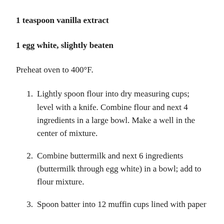1 teaspoon vanilla extract
1 egg white, slightly beaten
Preheat oven to 400°F.
1. Lightly spoon flour into dry measuring cups; level with a knife. Combine flour and next 4 ingredients in a large bowl. Make a well in the center of mixture.
2. Combine buttermilk and next 6 ingredients (buttermilk through egg white) in a bowl; add to flour mixture.
3. Spoon batter into 12 muffin cups lined with paper